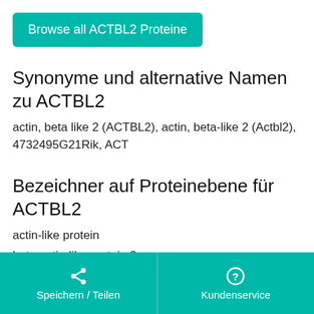[Figure (other): Teal button labeled 'Browse all ACTBL2 Proteine']
Synonyme und alternative Namen zu ACTBL2
actin, beta like 2 (ACTBL2), actin, beta-like 2 (Actbl2), 4732495G21Rik, ACT
Bezeichner auf Proteinebene für ACTBL2
actin-like protein
beta-actin-like protein 2
Speichern / Teilen   Kundenservice